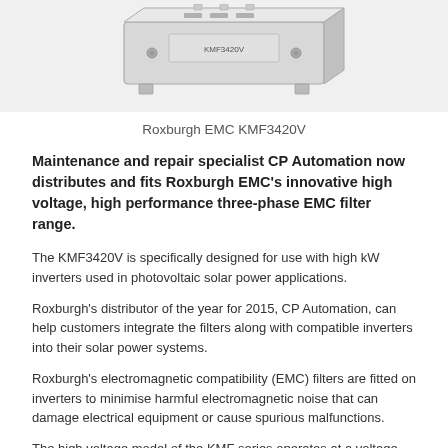[Figure (photo): Roxburgh EMC KMF3420V device — a rectangular EMC filter unit shown at an angle, light grey/silver with mounting studs visible]
Roxburgh EMC KMF3420V
Maintenance and repair specialist CP Automation now distributes and fits Roxburgh EMC's innovative high voltage, high performance three-phase EMC filter range.
The KMF3420V is specifically designed for use with high kW inverters used in photovoltaic solar power applications.
Roxburgh's distributor of the year for 2015, CP Automation, can help customers integrate the filters along with compatible inverters into their solar power systems.
Roxburgh's electromagnetic compatibility (EMC) filters are fitted on inverters to minimise harmful electromagnetic noise that can damage electrical equipment or cause spurious malfunctions.
The high voltage model of the KMF series operates at a voltage rating of 690V, significantly more than competing products that usually only work